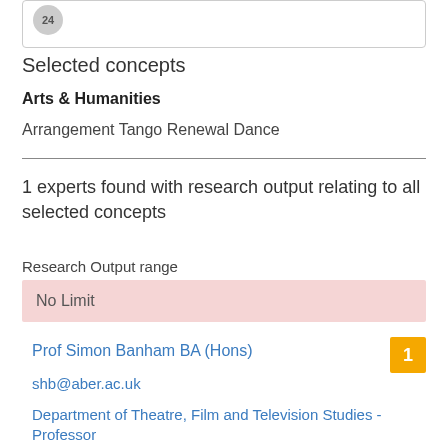24
Selected concepts
Arts & Humanities
Arrangement Tango Renewal Dance
1 experts found with research output relating to all selected concepts
Research Output range
No Limit
Prof Simon Banham BA (Hons)
shb@aber.ac.uk
Department of Theatre, Film and Television Studies - Professor